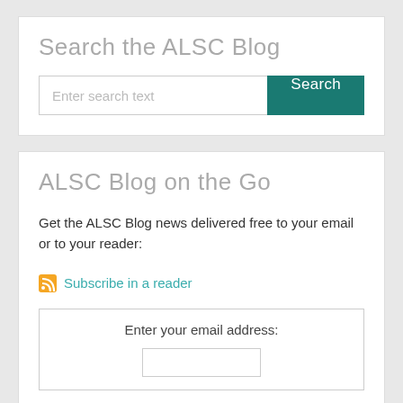Search the ALSC Blog
Enter search text
ALSC Blog on the Go
Get the ALSC Blog news delivered free to your email or to your reader:
Subscribe in a reader
Enter your email address: